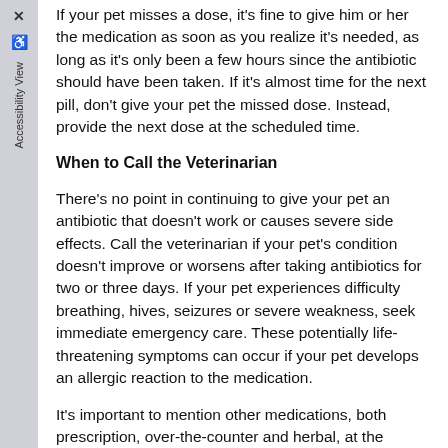If your pet misses a dose, it's fine to give him or her the medication as soon as you realize it's needed, as long as it's only been a few hours since the antibiotic should have been taken. If it's almost time for the next pill, don't give your pet the missed dose. Instead, provide the next dose at the scheduled time.
When to Call the Veterinarian
There's no point in continuing to give your pet an antibiotic that doesn't work or causes severe side effects. Call the veterinarian if your pet's condition doesn't improve or worsens after taking antibiotics for two or three days. If your pet experiences difficulty breathing, hives, seizures or severe weakness, seek immediate emergency care. These potentially life-threatening symptoms can occur if your pet develops an allergic reaction to the medication.
It's important to mention other medications, both prescription, over-the-counter and herbal, at the